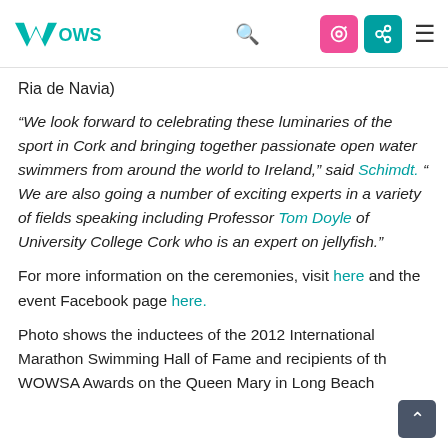WOWSA [logo with navigation icons]
Ria de Navia)
“We look forward to celebrating these luminaries of the sport in Cork and bringing together passionate open water swimmers from around the world to Ireland,” said Schimdt. “ We are also going a number of exciting experts in a variety of fields speaking including Professor Tom Doyle of University College Cork who is an expert on jellyfish.”
For more information on the ceremonies, visit here and the event Facebook page here.
Photo shows the inductees of the 2012 International Marathon Swimming Hall of Fame and recipients of the WOWSA Awards on the Queen Mary in Long Beach